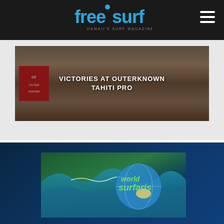[Figure (logo): Freesurf Hawaii's Surf Magazine logo in blue/cyan on dark background navigation bar]
[Figure (photo): Photo of people standing (legs visible) with text overlay reading VICTORIES AT OUTERKNOWN TAHITI PRO]
VICTORIES AT OUTERKNOWN TAHITI PRO
[Figure (photo): World Surfaris logo overlaid on surf/wave photo in a dark blue section background]